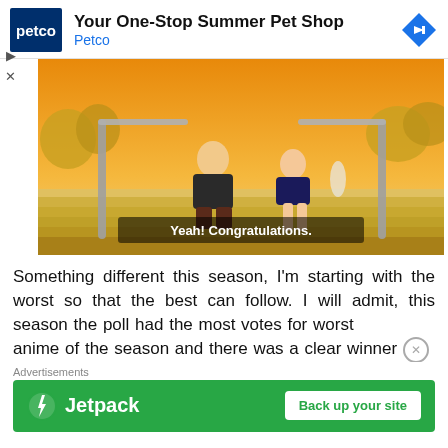[Figure (screenshot): Petco advertisement banner with blue Petco logo on left, text 'Your One-Stop Summer Pet Shop' and 'Petco' in blue, and a blue diamond navigation arrow icon on the right]
[Figure (screenshot): Anime screenshot showing two characters sitting on outdoor steps with a golden sunset background. A subtitle reads 'Yeah! Congratulations.' A chevron-up button appears at top-left.]
Something different this season, I'm starting with the worst so that the best can follow. I will admit, this season the poll had the most votes for worst anime of the season and there was a clear winner
Advertisements
[Figure (screenshot): Jetpack advertisement banner (green background) with Jetpack lightning bolt logo and name on the left, and a white 'Back up your site' button on the right]